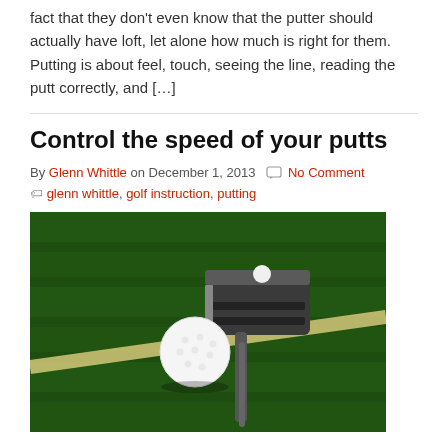fact that they don't even know that the putter should actually have loft, let alone how much is right for them. Putting is about feel, touch, seeing the line, reading the putt correctly, and […]
Control the speed of your putts
By Glenn Whittle on December 1, 2013  No Comment
glenn whittle, golf instruction, putting
[Figure (photo): Overhead view of a golf putter and white golf ball on a green putting surface with a white line/stripe visible on the green turf.]
Are you one of the many golfers who have difficulty controlling the distance of your putts? It is